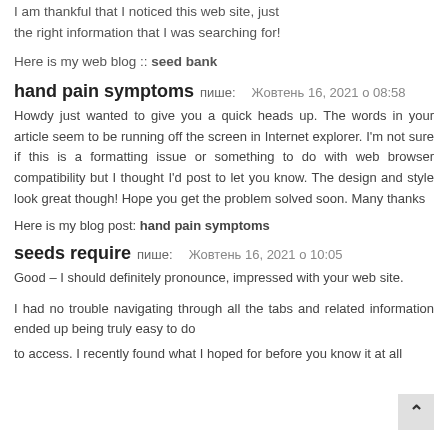I am thankful that I noticed this web site, just the right information that I was searching for!
Here is my web blog :: seed bank
hand pain symptoms пише:   Жовтень 16, 2021 о 08:58
Howdy just wanted to give you a quick heads up. The words in your article seem to be running off the screen in Internet explorer. I'm not sure if this is a formatting issue or something to do with web browser compatibility but I thought I'd post to let you know. The design and style look great though! Hope you get the problem solved soon. Many thanks
Here is my blog post: hand pain symptoms
seeds require пише:   Жовтень 16, 2021 о 10:05
Good – I should definitely pronounce, impressed with your web site.
I had no trouble navigating through all the tabs and related information ended up being truly easy to do
to access. I recently found what I hoped for before you know it at all